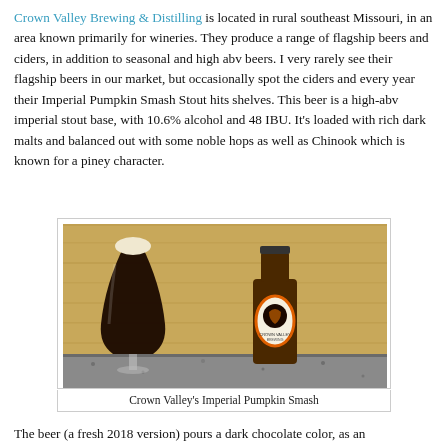Crown Valley Brewing & Distilling is located in rural southeast Missouri, in an area known primarily for wineries.  They produce a range of flagship beers and ciders, in addition to seasonal and high abv beers.  I very rarely see their flagship beers in our market, but occasionally spot the ciders and every year their Imperial Pumpkin Smash Stout hits shelves.  This beer is a high-abv imperial stout base, with 10.6% alcohol and 48 IBU.  It's loaded with rich dark malts and balanced out with some noble hops as well as Chinook which is known for a piney character.
[Figure (photo): Photo of Crown Valley Imperial Pumpkin Smash beer — a dark stout poured in a tulip glass with a cream-colored head, next to the bottle with a black and orange label featuring a jack-o-lantern, on a granite countertop in front of a wood background.]
Crown Valley's Imperial Pumpkin Smash
The beer (a fresh 2018 version) pours a dark chocolate color, as an